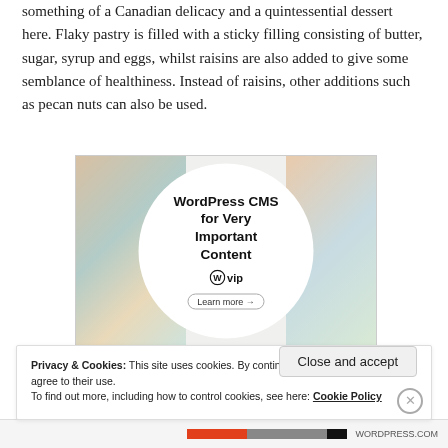something of a Canadian delicacy and a quintessential dessert here. Flaky pastry is filled with a sticky filling consisting of butter, sugar, syrup and eggs, whilst raisins are also added to give some semblance of healthiness. Instead of raisins, other additions such as pecan nuts can also be used.
[Figure (screenshot): WordPress VIP advertisement banner showing logos and 'WordPress CMS for Very Important Content' with a Learn more button inside a circle on a colorful background]
Privacy & Cookies: This site uses cookies. By continuing to use this website, you agree to their use.
To find out more, including how to control cookies, see here: Cookie Policy